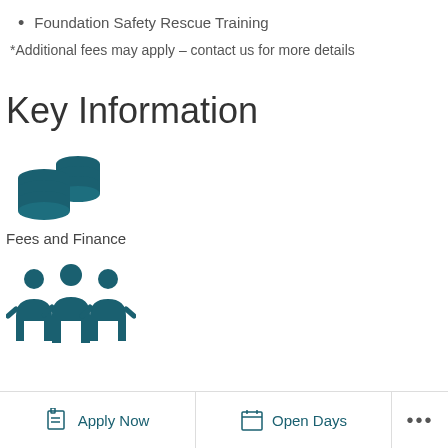Foundation Safety Rescue Training
*Additional fees may apply – contact us for more details
Key Information
[Figure (illustration): Stacked coins icon in teal color representing Fees and Finance]
Fees and Finance
[Figure (illustration): Three people / group icon in teal color]
[Figure (infographic): Bottom navigation bar with Apply Now, Open Days, and more options (...)]